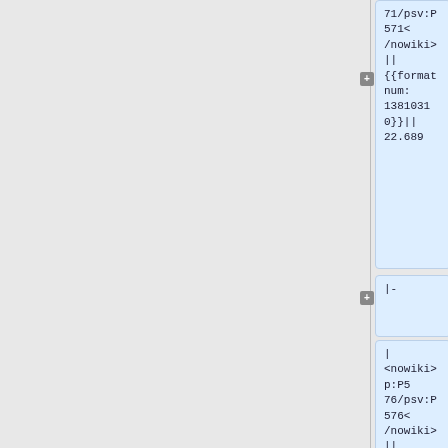71/psv:P571</nowiki>||{{formatnum:13810310}}||22.689
|-
| <nowiki>p:P576/psv:P576</nowiki>||{{formatnum:13810242}}||22.689
|-
| <nowiki>p:P582/psv:P582</nowiki>||{{formatnum: